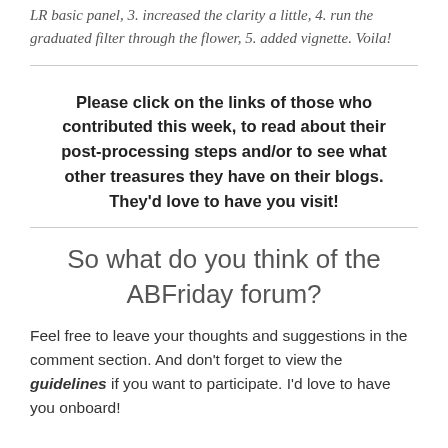LR basic panel, 3. increased the clarity a little, 4. run the graduated filter through the flower, 5. added vignette. Voila!
Please click on the links of those who contributed this week, to read about their post-processing steps and/or to see what other treasures they have on their blogs. They'd love to have you visit!
So what do you think of the ABFriday forum?
Feel free to leave your thoughts and suggestions in the comment section. And don't forget to view the guidelines if you want to participate. I'd love to have you onboard!